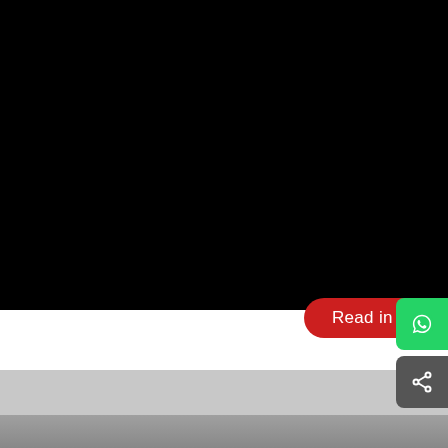[Figure (screenshot): Screenshot of a mobile app page showing a mostly black content area with a 'Read in App' red pill-shaped button, a WhatsApp share button (green), and a generic share button (dark gray). Below the content area are light gray and dark gray gradient bands.]
Read in App